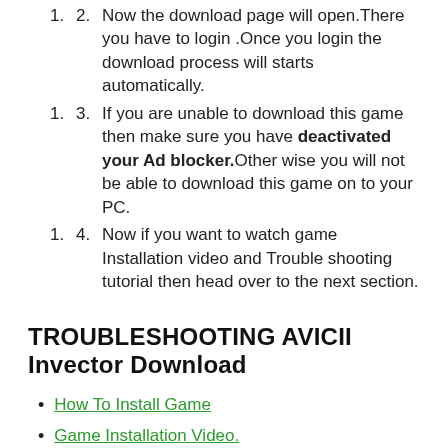2. Now the download page will open.There you have to login .Once you login the download process will starts automatically.
3. If you are unable to download this game then make sure you have deactivated your Ad blocker.Other wise you will not be able to download this game on to your PC.
4. Now if you want to watch game Installation video and Trouble shooting tutorial then head over to the next section.
TROUBLESHOOTING AVICII Invector Download
How To Install Game
Game Installation Video.
Fix unarc.dll